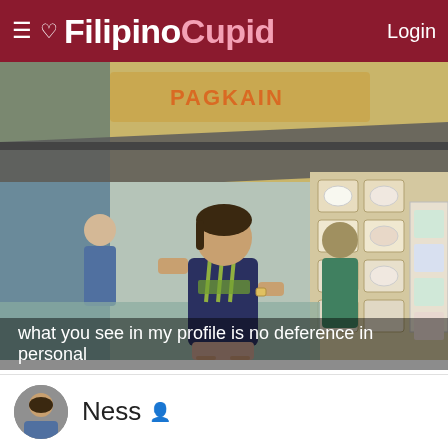FilipinoCupid  Login
[Figure (photo): A young woman wearing a dark blue Adidas t-shirt standing in front of a Filipino roadside food stall/eatery. Behind her are display boards showing food items, other people visible in the background. The setting is outdoors near a building with a yellow wall and a corrugated metal awning.]
what you see in my profile is no deference in personal
Ness